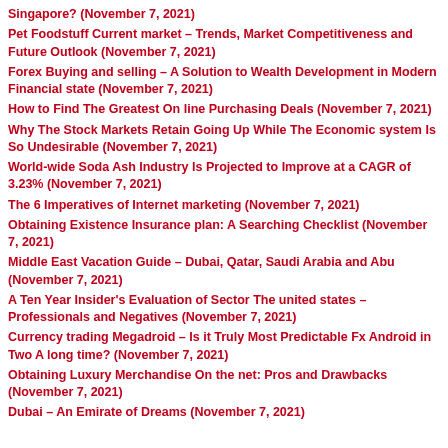Singapore? (November 7, 2021)
Pet Foodstuff Current market – Trends, Market Competitiveness and Future Outlook (November 7, 2021)
Forex Buying and selling – A Solution to Wealth Development in Modern Financial state (November 7, 2021)
How to Find The Greatest On line Purchasing Deals (November 7, 2021)
Why The Stock Markets Retain Going Up While The Economic system Is So Undesirable (November 7, 2021)
World-wide Soda Ash Industry Is Projected to Improve at a CAGR of 3.23% (November 7, 2021)
The 6 Imperatives of Internet marketing (November 7, 2021)
Obtaining Existence Insurance plan: A Searching Checklist (November 7, 2021)
Middle East Vacation Guide – Dubai, Qatar, Saudi Arabia and Abu (November 7, 2021)
A Ten Year Insider's Evaluation of Sector The united states – Professionals and Negatives (November 7, 2021)
Currency trading Megadroid – Is it Truly Most Predictable Fx Android in Two A long time? (November 7, 2021)
Obtaining Luxury Merchandise On the net: Pros and Drawbacks (November 7, 2021)
Dubai – An Emirate of Dreams (November 7, 2021)